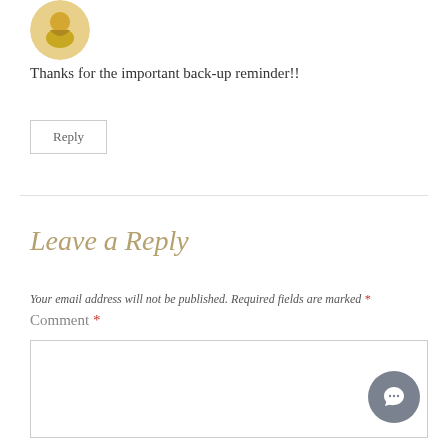[Figure (illustration): Circular avatar image of a figure in yellow/golden tones]
Thanks for the important back-up reminder!!
Reply
Leave a Reply
Your email address will not be published. Required fields are marked *
Comment *